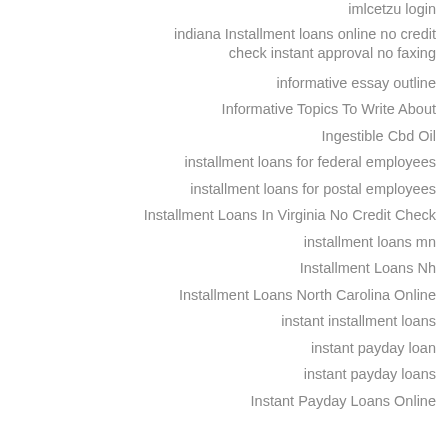imlcetzo login
indiana Installment loans online no credit check instant approval no faxing
informative essay outline
Informative Topics To Write About
Ingestible Cbd Oil
installment loans for federal employees
installment loans for postal employees
Installment Loans In Virginia No Credit Check
installment loans mn
Installment Loans Nh
Installment Loans North Carolina Online
instant installment loans
instant payday loan
instant payday loans
Instant Payday Loans Online